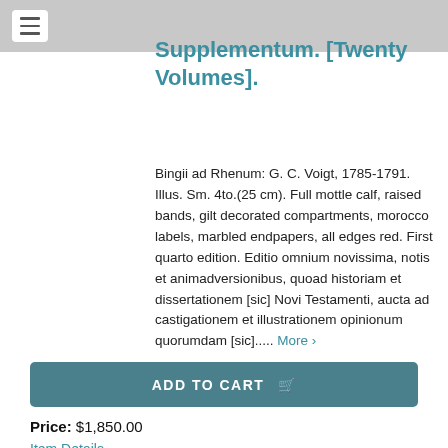Supplementum. [Twenty Volumes].
Bingii ad Rhenum: G. C. Voigt, 1785-1791. Illus. Sm. 4to.(25 cm). Full mottle calf, raised bands, gilt decorated compartments, morocco labels, marbled endpapers, all edges red. First quarto edition. Editio omnium novissima, notis et animadversionibus, quoad historiam et dissertationem [sic] Novi Testamenti, aucta ad castigationem et illustrationem opinionum quorumdam [sic]..... More >
ADD TO CART
Price: $1,850.00
Item Details
Ask a Question